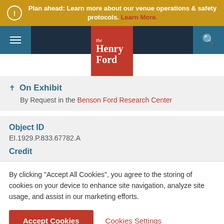Plan ahead: Learn more about our venue operations & safety protocols. Learn More.
[Figure (logo): The Henry Ford museum logo - red/orange square with 'the Henry Ford' text in white]
On Exhibit
By Request in the Benson Ford Research Center
Object ID
EI.1929.P.833.67782.A
Credit
By clicking "Accept All Cookies", you agree to the storing of cookies on your device to enhance site navigation, analyze site usage, and assist in our marketing efforts.